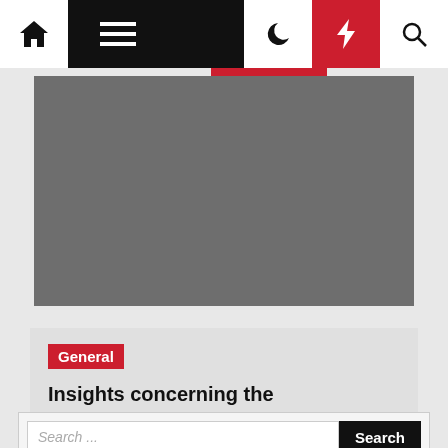Navigation bar with home, menu, moon, bolt, and search icons
[Figure (photo): Gray placeholder hero image for article]
General
Insights concerning the Bouwhuysch Civil Engineering Vacancies
ben  ⊙ 4 weeks ago
Search ...  Search